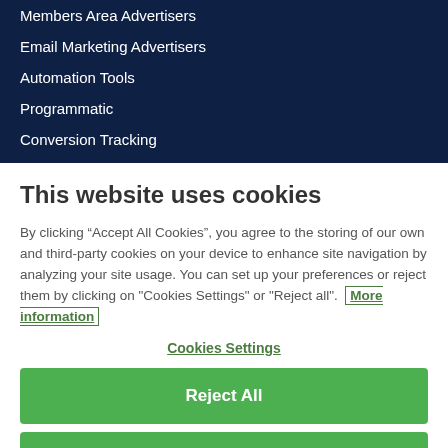Members Area Advertisers
Email Marketing Advertisers
Automation Tools
Programmatic
Conversion Tracking
This website uses cookies
By clicking “Accept All Cookies”, you agree to the storing of our own and third-party cookies on your device to enhance site navigation by analyzing your site usage. You can set up your preferences or reject them by clicking on "Cookies Settings" or "Reject all". More information
Cookies Settings
Reject All
Accept All Cookies